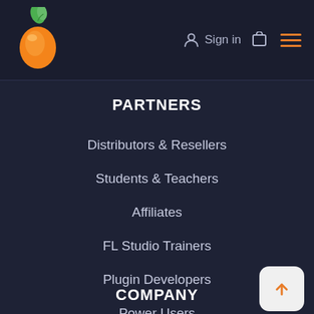[Figure (logo): FL Studio fruit logo - orange fruit with green leaf]
Sign in
PARTNERS
Distributors & Resellers
Students & Teachers
Affiliates
FL Studio Trainers
Plugin Developers
Power Users
COMPANY